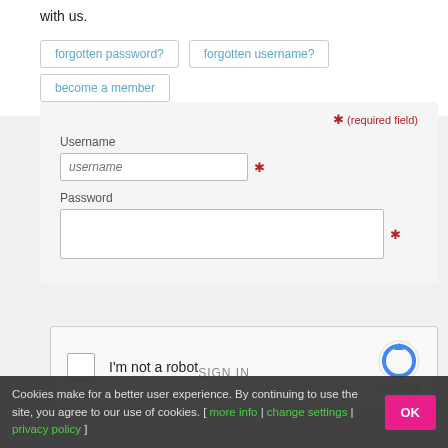with us.
forgotten password?
forgotten username?
become a member
* (required field)
Username
username
Password
[Figure (other): reCAPTCHA widget with checkbox and 'I'm not a robot' text and reCAPTCHA logo]
SIGN IN
Cookies make for a better user experience. By continuing to use the site, you agree to our use of cookies. [ more info | change settings | privacy policy ]